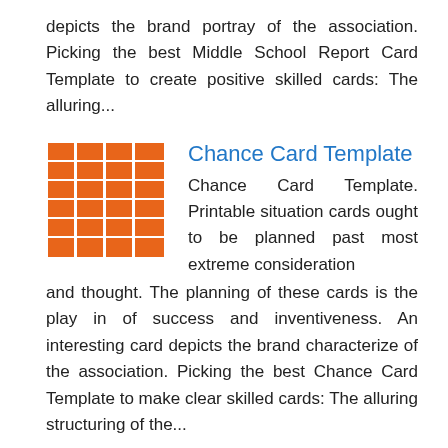depicts the brand portray of the association. Picking the best Middle School Report Card Template to create positive skilled cards: The alluring...
[Figure (illustration): Orange grid thumbnail image representing Chance Card Template]
Chance Card Template
Chance Card Template. Printable situation cards ought to be planned past most extreme consideration and thought. The planning of these cards is the play in of success and inventiveness. An interesting card depicts the brand characterize of the association. Picking the best Chance Card Template to make clear skilled cards: The alluring structuring of the...
[Figure (illustration): Document/form thumbnail image representing Acceptance Card Template]
Acceptance Card Template
Acceptance Card Template. Printable thing cards ought to be planned taking into consideration most extreme consideration and thought. The planning of these cards is the play of completion and inventiveness. An fascinating card